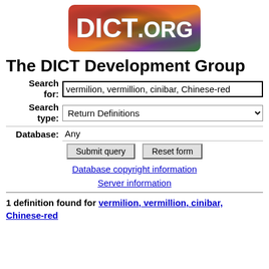[Figure (logo): DICT.org logo banner with colorful red/orange/green abstract background and white bold text reading DICT.ORG]
The DICT Development Group
Search for: vermilion, vermillion, cinibar, Chinese-red | Search type: Return Definitions | Database: Any | Submit query | Reset form
Database copyright information
Server information
1 definition found for vermilion, vermillion, cinibar, Chinese-red